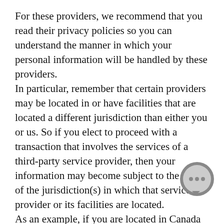For these providers, we recommend that you read their privacy policies so you can understand the manner in which your personal information will be handled by these providers. In particular, remember that certain providers may be located in or have facilities that are located a different jurisdiction than either you or us. So if you elect to proceed with a transaction that involves the services of a third-party service provider, then your information may become subject to the laws of the jurisdiction(s) in which that service provider or its facilities are located. As an example, if you are located in Canada and your transaction is processed by a payment gateway located in the United States, then your personal information used in completing that transaction may be subject to disclosure under United States legislation, including the Patriot Act. Once you leave our store's website or are redirected to a third-party website or application, you are no longer governed by this Privacy Policy or our website's Terms
[Figure (illustration): A circular chat bubble icon with three dots inside, styled in dark gray, overlapping the text at the bottom right.]